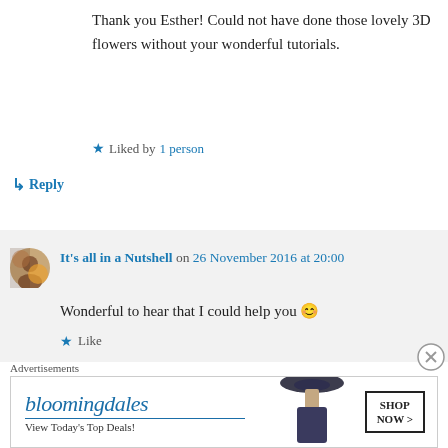Thank you Esther! Could not have done those lovely 3D flowers without your wonderful tutorials.
★ Liked by 1 person
↳ Reply
It's all in a Nutshell on 26 November 2016 at 20:00
Wonderful to hear that I could help you 😊
★ Like
Advertisements
[Figure (other): Bloomingdale's advertisement banner showing logo, 'View Today's Top Deals!' tagline, a model wearing a wide-brim hat, and a 'SHOP NOW >' button]